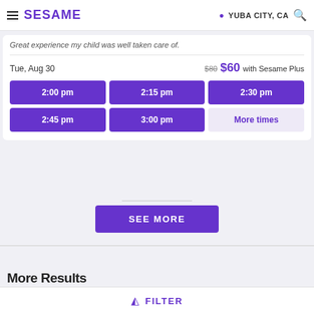SESAME — YUBA CITY, CA
Great experience my child was well taken care of.
Tue, Aug 30  $80  $60 with Sesame Plus
2:00 pm | 2:15 pm | 2:30 pm | 2:45 pm | 3:00 pm | More times
SEE MORE
More Results
FILTER